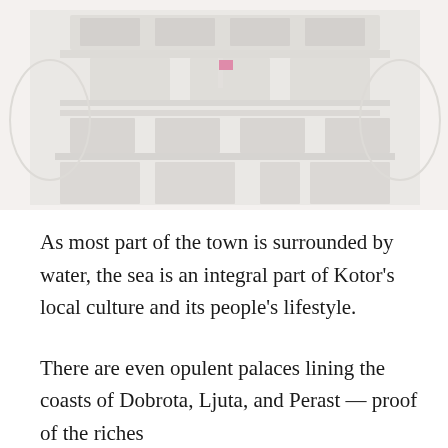[Figure (photo): Faded/washed-out photograph of a multi-story building facade with balconies, windows and architectural details, resembling a Mediterranean or Balkan town building in Kotor.]
As most part of the town is surrounded by water, the sea is an integral part of Kotor's local culture and its people's lifestyle.
There are even opulent palaces lining the coasts of Dobrota, Ljuta, and Perast — proof of the riches...